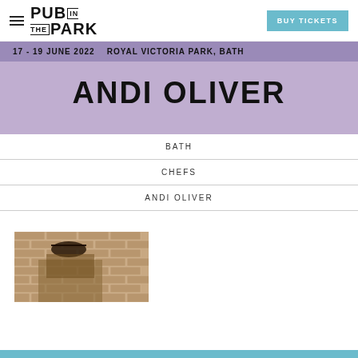PUB IN THE PARK — BUY TICKETS
17 - 19 JUNE 2022    ROYAL VICTORIA PARK, BATH
ANDI OLIVER
BATH
CHEFS
ANDI OLIVER
[Figure (photo): Partial photo of a person with sunglasses in front of a brick wall background]